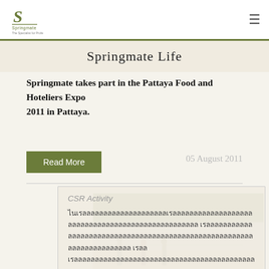Springmate [logo] [hamburger menu]
Springmate Life
Springmate takes part in the Pattaya Food and Hoteliers Expo 2011 in Pattaya.
Read More
05 August 2011
[Figure (photo): Outdoor photo showing people near a body of water with trees in background, related to a CSR Activity]
CSR Activity
Thai text paragraph describing CSR activity content
Thai button text (อ่านต่อ)